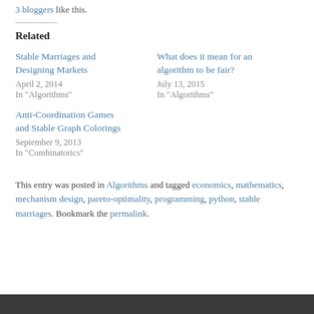3 bloggers like this.
Related
Stable Marriages and Designing Markets
April 2, 2014
In "Algorithms"
What does it mean for an algorithm to be fair?
July 13, 2015
In "Algorithms"
Anti-Coordination Games and Stable Graph Colorings
September 9, 2013
In "Combinatorics"
This entry was posted in Algorithms and tagged economics, mathematics, mechanism design, pareto-optimality, programming, python, stable marriages. Bookmark the permalink.